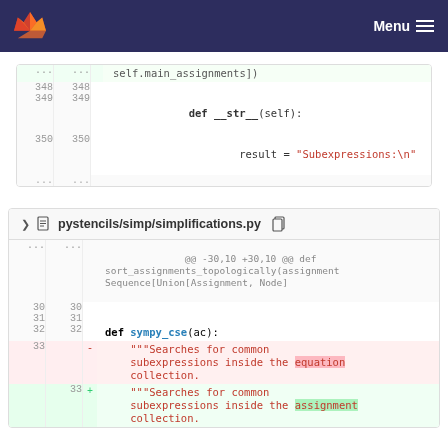[Figure (screenshot): GitLab navigation bar with flame logo and Menu hamburger icon on dark navy background]
| old_ln | new_ln | diff_sign | code |
| --- | --- | --- | --- |
| ... | ... |  | self.main_assignments]) |
| 348 | 348 |  |  |
| 349 | 349 |  |     def __str__(self): |
| 350 | 350 |  |         result = "Subexpressions:\n" |
| ... | ... |  |  |
pystencils/simp/simplifications.py
| old_ln | new_ln | diff_sign | code |
| --- | --- | --- | --- |
| ... | ... |  | @@ -30,10 +30,10 @@ def sort_assignments_topologically(assignment Sequence[Union[Assignment, Node] |
| 30 | 30 |  |  |
| 31 | 31 |  |  |
| 32 | 32 |  |     def sympy_cse(ac): |
| 33 |  | - |     """Searches for common subexpressions inside the equation collection. |
|  | 33 | + |     """Searches for common subexpressions inside the assignment collection. |